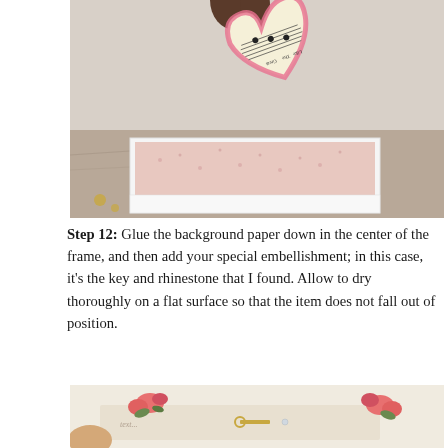[Figure (photo): A hand holding a heart-shaped piece of sheet music with a pink glittered edge, being dipped into a white box containing pink glitter/sand on a marble surface.]
Step 12: Glue the background paper down in the center of the frame, and then add your special embellishment; in this case, it's the key and rhinestone that I found. Allow to dry thoroughly on a flat surface so that the item does not fall out of position.
[Figure (photo): Close-up of a hand placing pink rosebuds and a key embellishment onto a decorative frame with script text visible in the background.]